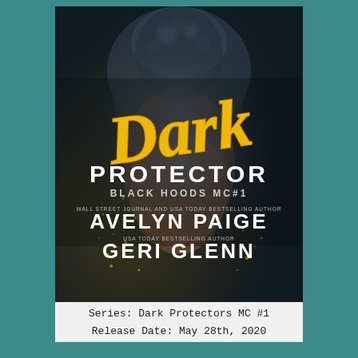[Figure (illustration): Book cover for 'Dark Protector, Black Hoods MC #1' by Avelyn Paige and Geri Glenn. Dark moody cover featuring a tattooed muscular man, with large gold script title 'Dark' and bold white text 'PROTECTOR', subtitle 'BLACK HOODS MC#1', author credits including 'Wall Street Journal and USA Today Bestselling Author Avelyn Paige' and 'USA Today Bestselling Author Geri Glenn'.]
Series: Dark Protectors MC #1
Release Date: May 28th, 2020